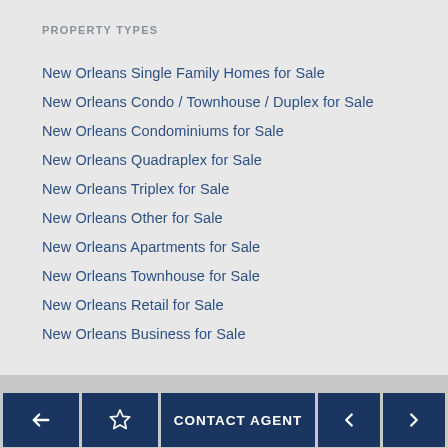PROPERTY TYPES
New Orleans Single Family Homes for Sale
New Orleans Condo / Townhouse / Duplex for Sale
New Orleans Condominiums for Sale
New Orleans Quadraplex for Sale
New Orleans Triplex for Sale
New Orleans Other for Sale
New Orleans Apartments for Sale
New Orleans Townhouse for Sale
New Orleans Retail for Sale
New Orleans Business for Sale
CONTACT AGENT